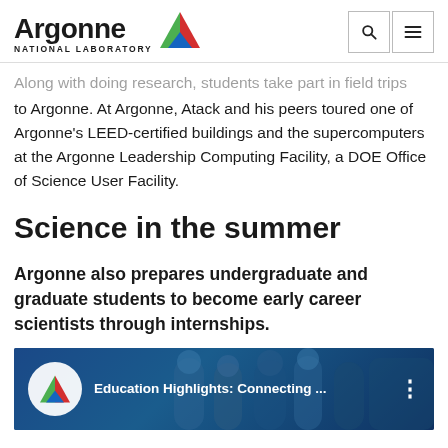Argonne National Laboratory
Along with doing research, students take part in field trips to Argonne. At Argonne, Atack and his peers toured one of Argonne's LEED-certified buildings and the supercomputers at the Argonne Leadership Computing Facility, a DOE Office of Science User Facility.
Science in the summer
Argonne also prepares undergraduate and graduate students to become early career scientists through internships.
[Figure (screenshot): Video thumbnail for 'Education Highlights: Connecting ...' with Argonne logo on dark blue background showing people in lab coats.]